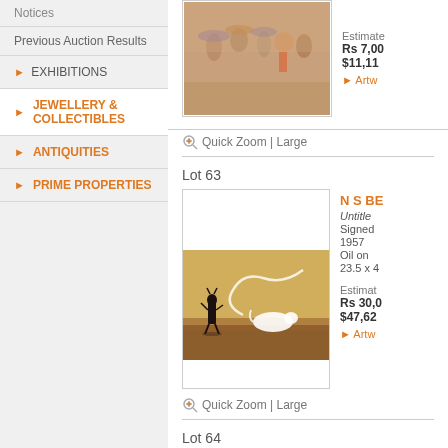Notices
Previous Auction Results
EXHIBITIONS
JEWELLERY & COLLECTIBLES
ANTIQUITIES
PRIME PROPERTIES
[Figure (photo): Painting showing figures with umbrellas in an impressionist style with warm pinkish-brown tones]
Quick Zoom | Large
Lot 63
N S BE
Untitled
Signed
1957
Oil on
23.5 x 4
Estimate
Rs 30,0
$47,62
Artwo
[Figure (photo): Painting of a dark cat-like figure and a white rodent/cat on a desert landscape with swirling lines, warm golden-brown tones]
Quick Zoom | Large
Lot 64